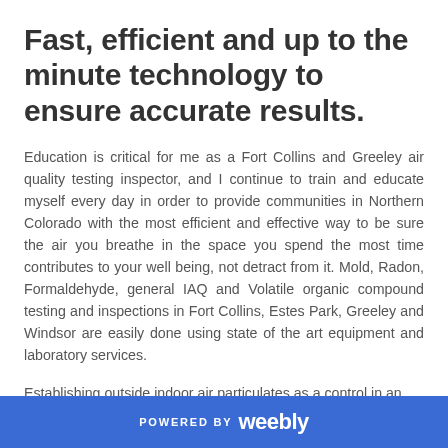Fast, efficient and up to the minute technology to ensure accurate results.
Education is critical for me as a Fort Collins and Greeley air quality testing inspector, and I continue to train and educate myself every day in order to provide communities in Northern Colorado with the most efficient and effective way to be sure the air you breathe in the space you spend the most time contributes to your well being, not detract from it. Mold, Radon, Formaldehyde, general IAQ and Volatile organic compound testing and inspections in Fort Collins, Estes Park, Greeley and Windsor are easily done using state of the art equipment and laboratory services.
Establishing outside indoor air particulates as a control in an
POWERED BY weebly